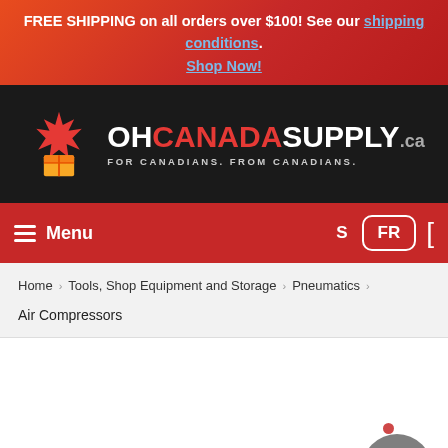FREE SHIPPING on all orders over $100! See our shipping conditions. Shop Now!
[Figure (logo): OhCanadaSupply.ca logo with maple leaf and box icon, tagline: FOR CANADIANS. FROM CANADIANS.]
Menu  S  FR  [
Home > Tools, Shop Equipment and Storage > Pneumatics > Air Compressors